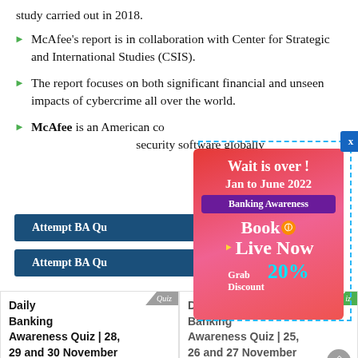study carried out in 2018.
McAfee's report is in collaboration with Center for Strategic and International Studies (CSIS).
The report focuses on both significant financial and unseen impacts of cybercrime all over the world.
McAfee is an American company that is the world's largest dedicated security software globally.
[Figure (other): Popup advertisement: 'Wait is over ! Jan to June 2022 Banking Awareness Book is Live Now Grab Discount 20%' with close button and dashed border overlay]
Attempt BA Quiz
Attempt BA Quiz
Daily Banking Awareness Quiz | 28, 29 and 30 November 2020
Daily Banking Awareness Quiz | 25, 26 and 27 November 2020